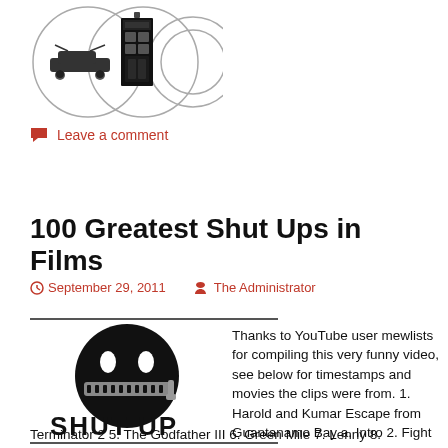[Figure (illustration): Three overlapping circles logo with icons: a DeLorean car, a TARDIS police box, and a ring/hoop shape]
Leave a comment
100 Greatest Shut Ups in Films
September 29, 2011   The Administrator
[Figure (illustration): Black circle smiley face with zipper mouth and SHUT UP text below in bold black letters]
Thanks to YouTube user mewlists for compiling this very funny video, see below for timestamps and movies the clips were from. 1. Harold and Kumar Escape from Guantanamo Bay a. Intro 2. Fight Club 3. The Departed 4. The Terminator 2 5. The Godfather III 6. Green Mile 7. Lenny 8.